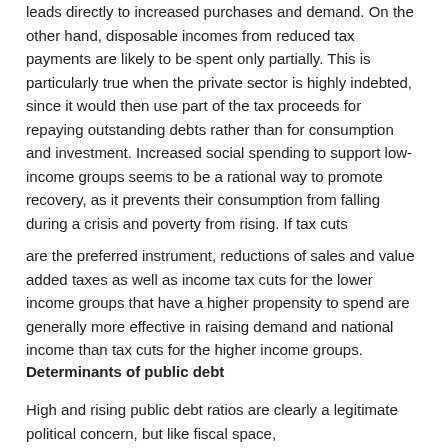leads directly to increased purchases and demand. On the other hand, disposable incomes from reduced tax payments are likely to be spent only partially. This is particularly true when the private sector is highly indebted, since it would then use part of the tax proceeds for repaying outstanding debts rather than for consumption and investment. Increased social spending to support low-income groups seems to be a rational way to promote recovery, as it prevents their consumption from falling during a crisis and poverty from rising. If tax cuts
are the preferred instrument, reductions of sales and value added taxes as well as income tax cuts for the lower income groups that have a higher propensity to spend are generally more effective in raising demand and national income than tax cuts for the higher income groups.
Determinants of public debt
High and rising public debt ratios are clearly a legitimate political concern, but like fiscal space,